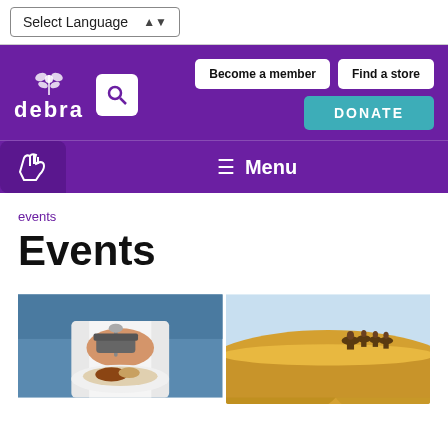Select Language
[Figure (screenshot): DEBRA charity website header with purple background, logo, search icon, Become a member and Find a store buttons, DONATE button, and hamburger Menu]
events
Events
[Figure (photo): Two event photos side by side: left shows a chef plating food in a kitchen; right shows people riding camels through desert dunes]